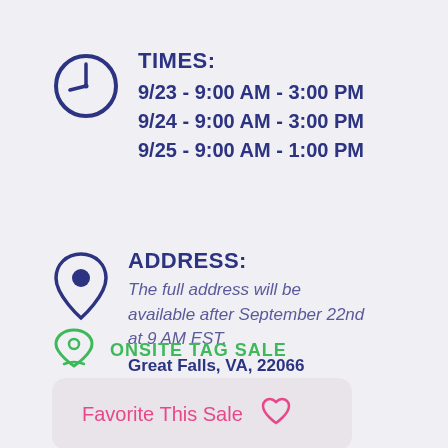TIMES:
9/23 - 9:00 AM - 3:00 PM
9/24 - 9:00 AM - 3:00 PM
9/25 - 9:00 AM - 1:00 PM
ADDRESS:
The full address will be available after September 22nd at 9 AM EST.
Great Falls, VA, 22066
ONSITE TAG SALE
Favorite This Sale